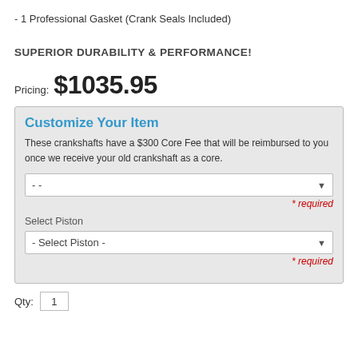- 1 Professional Gasket (Crank Seals Included)
SUPERIOR DURABILITY & PERFORMANCE!
Pricing: $1035.95
Customize Your Item
These crankshafts have a $300 Core Fee that will be reimbursed to you once we receive your old crankshaft as a core.
-- (dropdown) * required
Select Piston
- Select Piston - (dropdown) * required
Qty: 1